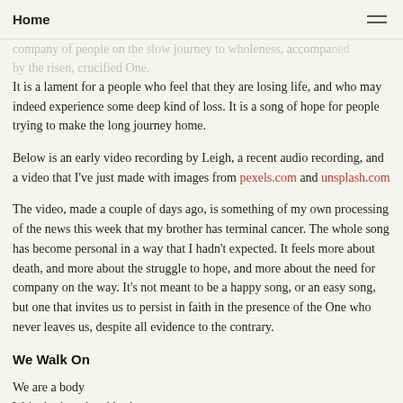Home
company of people on the slow journey to wholeness, accompanied by the risen, crucified One.
It is a lament for a people who feel that they are losing life, and who may indeed experience some deep kind of loss. It is a song of hope for people trying to make the long journey home.
Below is an early video recording by Leigh, a recent audio recording, and a video that I've just made with images from pexels.com and unsplash.com
The video, made a couple of days ago, is something of my own processing of the news this week that my brother has terminal cancer. The whole song has become personal in a way that I hadn't expected. It feels more about death, and more about the struggle to hope, and more about the need for company on the way. It's not meant to be a happy song, or an easy song, but one that invites us to persist in faith in the presence of the One who never leaves us, despite all evidence to the contrary.
We Walk On
We are a body
We're bothered and broken
We are a family